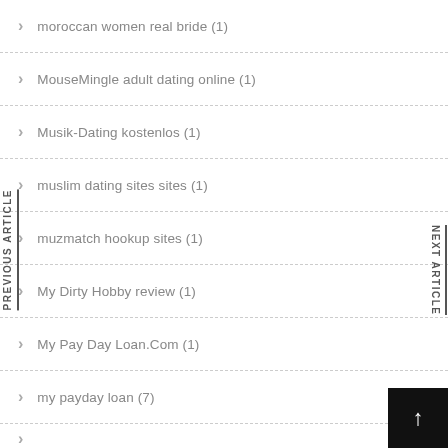moroccan women real bride (1)
MouseMingle adult dating online (1)
Musik-Dating kostenlos (1)
muslim dating sites sites (1)
muzmatch hookup sites (1)
My Dirty Hobby review (1)
My Pay Day Loan.Com (1)
my payday loan (7)